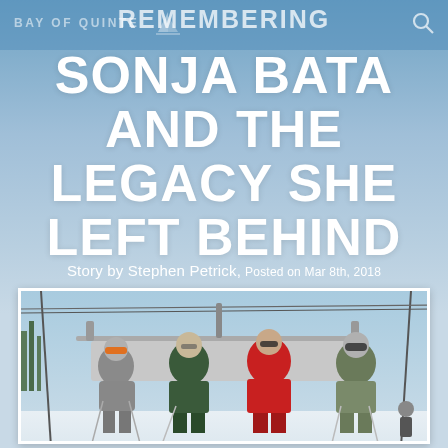BAY OF QUINTE
REMEMBERING SONJA BATA AND THE LEGACY SHE LEFT BEHIND
Story by Stephen Petrick, Posted on Mar 8th, 2018
[Figure (photo): Four people riding a ski lift chair in winter ski gear. One person wears a bright red jacket, others wear dark winter clothing. They are seated on a chairlift with a sunny winter day in the background.]